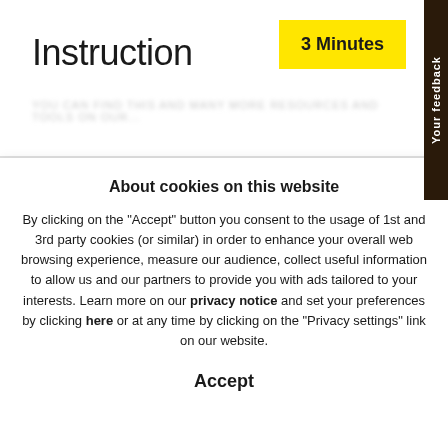Instruction
3 Minutes
Your feedback
About cookies on this website
By clicking on the "Accept" button you consent to the usage of 1st and 3rd party cookies (or similar) in order to enhance your overall web browsing experience, measure our audience, collect useful information to allow us and our partners to provide you with ads tailored to your interests. Learn more on our privacy notice and set your preferences by clicking here or at any time by clicking on the "Privacy settings" link on our website.
Accept